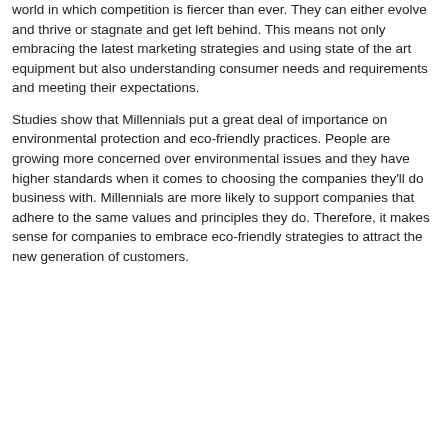world in which competition is fiercer than ever. They can either evolve and thrive or stagnate and get left behind. This means not only embracing the latest marketing strategies and using state of the art equipment but also understanding consumer needs and requirements and meeting their expectations.
Studies show that Millennials put a great deal of importance on environmental protection and eco-friendly practices. People are growing more concerned over environmental issues and they have higher standards when it comes to choosing the companies they'll do business with. Millennials are more likely to support companies that adhere to the same values and principles they do. Therefore, it makes sense for companies to embrace eco-friendly strategies to attract the new generation of customers.